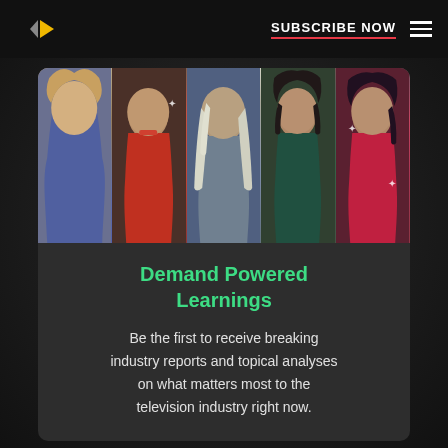SUBSCRIBE NOW
[Figure (photo): A photo strip showing five TV show characters side by side: a young blonde woman, a man in a red jumpsuit, a man with long white hair, a young Asian woman, and a woman in red dress.]
Demand Powered Learnings
Be the first to receive breaking industry reports and topical analyses on what matters most to the television industry right now.